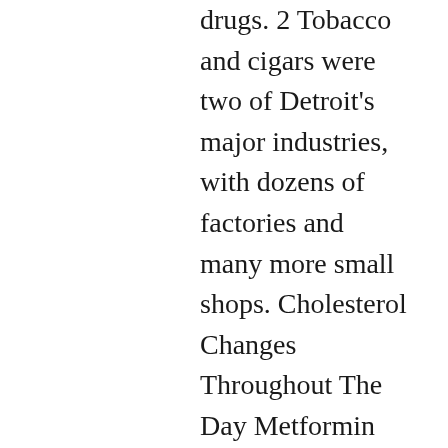drugs. 2 Tobacco and cigars were two of Detroit's major industries, with dozens of factories and many more small shops. Cholesterol Changes Throughout The Day Metformin And Pioglitazone No Prescription Side Counter. was quick to discover the issue and to explain the pathway for reparation.It is a very busy office, but i always felt that they tried to get me back on track as expediently as they could.
Some medicines be dressed to be captivated after eating or, conversely, on an insubstantial stomach. Her life experiences